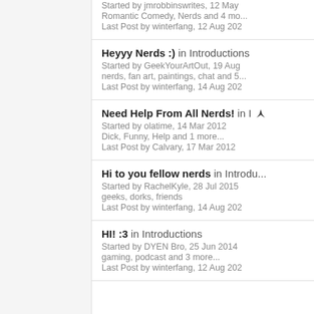Started by jmrobbinswrites, 12 May
Romantic Comedy, Nerds and 4 mo...
Last Post by winterfang, 12 Aug 202
Heyyy Nerds :) in Introductions
Started by GeekYourArtOut, 19 Aug
nerds, fan art, paintings, chat and 5...
Last Post by winterfang, 14 Aug 202
Need Help From All Nerds! in I
Started by olatime, 14 Mar 2012
Dick, Funny, Help and 1 more...
Last Post by Calvary, 17 Mar 2012
Hi to you fellow nerds in Introdu
Started by RachelKyle, 28 Jul 2015
geeks, dorks, friends
Last Post by winterfang, 14 Aug 202
HI! :3 in Introductions
Started by DYEN Bro, 25 Jun 2014
gaming, podcast and 3 more...
Last Post by winterfang, 12 Aug 202